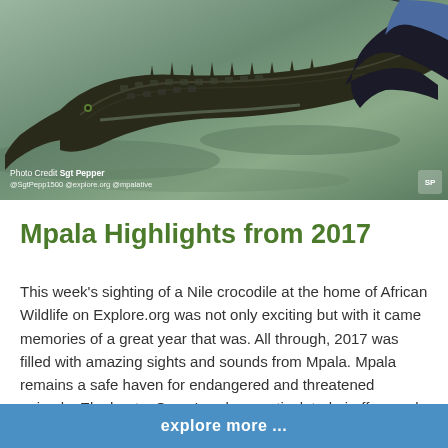[Figure (photo): A Nile crocodile being held by a person near shallow water. The crocodile is large with distinctive scaly skin. Photo credit text visible in lower left.]
Photo Credit Sgt Pepper
@SgtPepp1500 @explore.org @mpalative
Mpala Highlights from 2017
This week's sighting of a Nile crocodile at the home of African Wildlife on Explore.org was not only exciting but with it came memories of a great year that was. All through, 2017 was filled with amazing sights and sounds from Mpala. Mpala remains a safe haven for endangered and threatened animals. Elephants, Grevy's zebras, reticulated giraffes, and
explore more ...